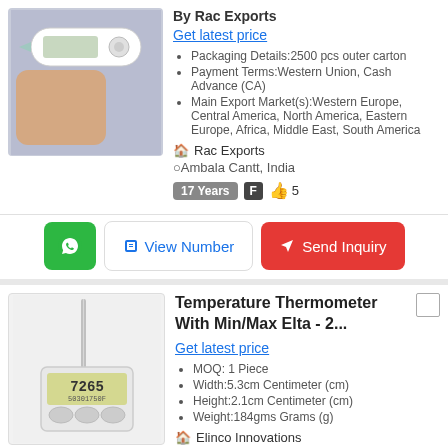By Rac Exports
Get latest price
Packaging Details:2500 pcs outer carton
Payment Terms:Western Union, Cash Advance (CA)
Main Export Market(s):Western Europe, Central America, North America, Eastern Europe, Africa, Middle East, South America
Rac Exports
Ambala Cantt, India
17 Years  F  👍 5
View Number
Send Inquiry
[Figure (photo): Hand holding a digital clinical thermometer]
Temperature Thermometer With Min/Max Elta - 2...
Get latest price
MOQ: 1 Piece
Width:5.3cm Centimeter (cm)
Height:2.1cm Centimeter (cm)
Weight:184gms Grams (g)
Elinco Innovations
[Figure (photo): Digital temperature thermometer with probe showing 72.65 on display]